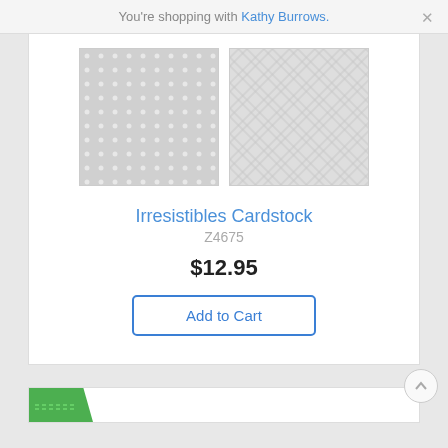You're shopping with Kathy Burrows.
[Figure (photo): Two fabric/cardstock swatch images side by side: left has polka dot pattern on gray, right has diagonal plaid/grid pattern on gray]
Irresistibles Cardstock
Z4675
$12.95
Add to Cart